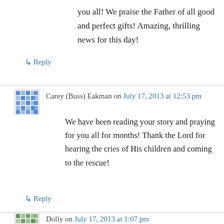you all! We praise the Father of all good and perfect gifts! Amazing, thrilling news for this day!
↳ Reply
Carey (Buss) Eakman on July 17, 2013 at 12:53 pm
We have been reading your story and praying for you all for months! Thank the Lord for hearing the cries of His children and coming to the rescue!
↳ Reply
Dolly on July 17, 2013 at 1:07 pm
Praising Gid with you! I went to bed crying lady